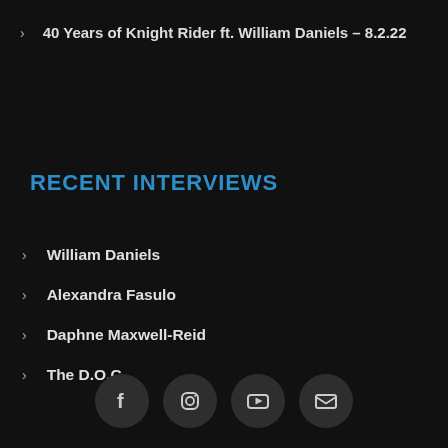40 Years of Knight Rider ft. William Daniels – 8.2.22
RECENT INTERVIEWS
William Daniels
Alexandra Fasulo
Daphne Maxwell-Reid
The D.O.C.
[Figure (infographic): Row of four social media icon buttons: Facebook, Instagram, YouTube, Email — dark circular buttons at bottom of page]